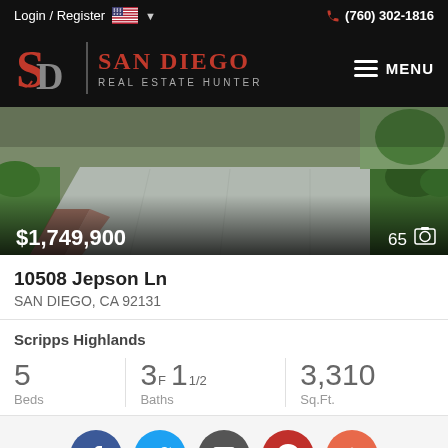Login / Register  (760) 302-1816
[Figure (logo): San Diego Real Estate Hunter logo with SD monogram in red on black background]
[Figure (photo): Driveway of residential property, showing concrete driveway with brick border and green lawn. Price overlay: $1,749,900. Photo count: 65]
10508 Jepson Ln
SAN DIEGO, CA 92131
Scripps Highlands
5 Beds  3F 1 1/2 Baths  3,310 Sq.Ft.
[Figure (infographic): Social media share buttons: Facebook, Twitter, Email, Pinterest, More (+)]